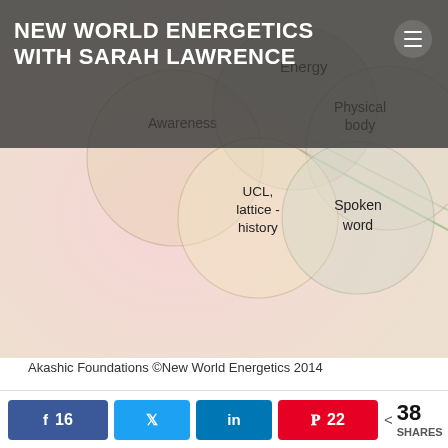NEW WORLD ENERGETICS WITH SARAH LAWRENCE
[Figure (infographic): Venn-diagram style infographic showing overlapping circles labeled: Awareness, Energy, Physical body, UCL lattice - history, Spoken word. Pink and beige tones. Caption: Akashic Foundations ©New World Energetics 2014]
Akashic Foundations ©New World Energetics 2014
Akashic Records Reading vs a Psychic Reading – what's the difference?
16  [Facebook share]   [Twitter share]   [LinkedIn share]  22 [Pinterest share]  < 38 SHARES